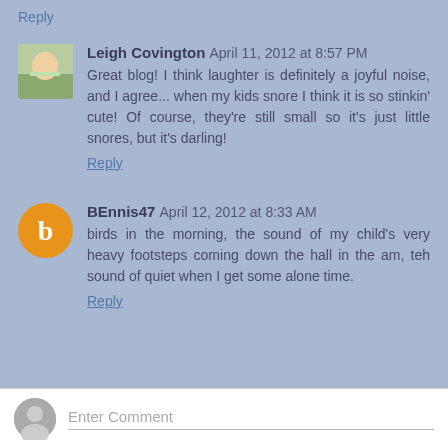Reply
Leigh Covington  April 11, 2012 at 8:57 PM
Great blog! I think laughter is definitely a joyful noise, and I agree... when my kids snore I think it is so stinkin' cute! Of course, they're still small so it's just little snores, but it's darling!
Reply
BEnnis47  April 12, 2012 at 8:33 AM
birds in the morning, the sound of my child's very heavy footsteps coming down the hall in the am, teh sound of quiet when I get some alone time.
Reply
Enter Comment